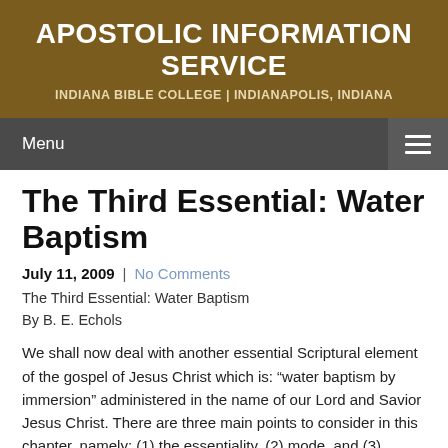APOSTOLIC INFORMATION SERVICE
INDIANA BIBLE COLLEGE | INDIANAPOLIS, INDIANA
The Third Essential: Water Baptism
July 11, 2009  |  No Comments
The Third Essential: Water Baptism
By B. E. Echols
We shall now deal with another essential Scriptural element of the gospel of Jesus Christ which is: “water baptism by immersion” administered in the name of our Lord and Savior Jesus Christ. There are three main points to consider in this chapter, namely: (1) the essentiality, (2) mode, and (3) formula of water baptism. If the reader has an open heart and mind to accept the plain teachings of God’s Holy Word, concerning these fundamental